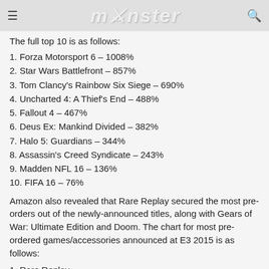monster
The full top 10 is as follows:
1. Forza Motorsport 6 – 1008%
2. Star Wars Battlefront – 857%
3. Tom Clancy's Rainbow Six Siege – 690%
4. Uncharted 4: A Thief's End – 488%
5. Fallout 4 – 467%
6. Deus Ex: Mankind Divided – 382%
7. Halo 5: Guardians – 344%
8. Assassin's Creed Syndicate – 243%
9. Madden NFL 16 – 136%
10. FIFA 16 – 76%
Amazon also revealed that Rare Replay secured the most pre-orders out of the newly-announced titles, along with Gears of War: Ultimate Edition and Doom. The chart for most pre-ordered games/accessories announced at E3 2015 is as follows:
1. Rare Replay
2. Gears of War: Ultimate Edition